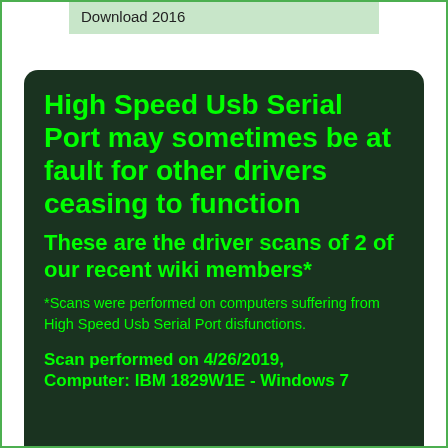Download 2016
High Speed Usb Serial Port may sometimes be at fault for other drivers ceasing to function
These are the driver scans of 2 of our recent wiki members*
*Scans were performed on computers suffering from High Speed Usb Serial Port disfunctions.
Scan performed on 4/26/2019, Computer: IBM 1829W1E - Windows 7